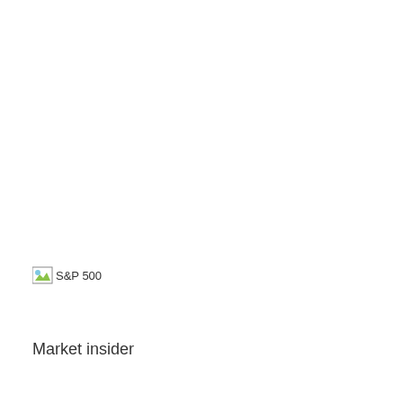[Figure (other): Broken image placeholder with alt text 'S&P 500' and small green/blue landscape icon]
Market insider